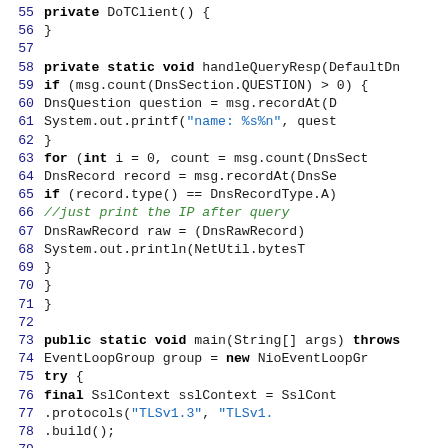[Figure (screenshot): Java source code snippet showing lines 55-82 of a DoTClient class, including a private constructor, handleQueryResp method, and the beginning of a main method with SSL context and Bootstrap setup.]